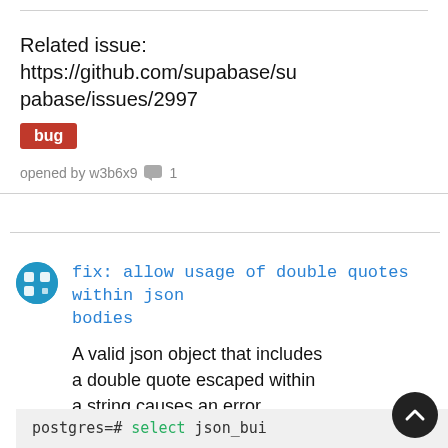Related issue: https://github.com/supabase/supabase/issues/2997
bug
opened by w3b6x9 💬 1
fix: allow usage of double quotes within json bodies
A valid json object that includes a double quote escaped within a string causes an error. Not sure if this is the best way to fix this!
postgres=# select json_bui